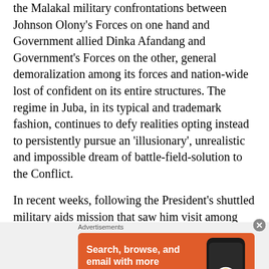the Malakal military confrontations between Johnson Olony's Forces on one hand and Government allied Dinka Afandang and Government's Forces on the other, general demoralization among its forces and nation-wide lost of confident on its entire structures. The regime in Juba, in its typical and trademark fashion, continues to defy realities opting instead to persistently pursue an 'illusionary', unrealistic and impossible dream of battle-field-solution to the Conflict.
In recent weeks, following the President's shuttled military aids mission that saw him visit among other places Turkey,
[Figure (other): DuckDuckGo advertisement banner. Orange background with text 'Search, browse, and email with more privacy. All in One Free App' and a phone image with DuckDuckGo logo.]